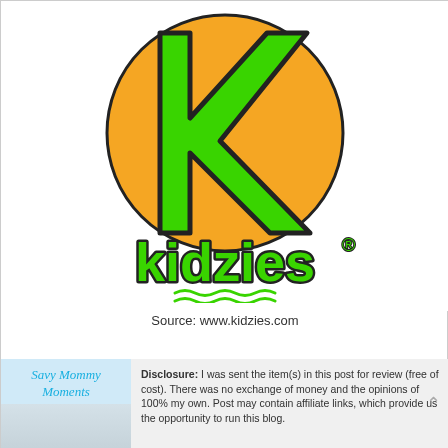[Figure (logo): Kidzies logo: large orange circle with a green block letter K in the center, and 'kidzies' text in green bubbly letters below with a registered trademark symbol and wavy underline]
Source: www.kidzies.com
[Figure (illustration): Savy Mommy Moments blog section with teal italic heading and a partial photo of a cat/animal below]
Disclosure: I was sent the item(s) in this post for review (free of cost). There was no exchange of money and the opinions of 100% my own. Post may contain affiliate links, which provide us the opportunity to run this blog.